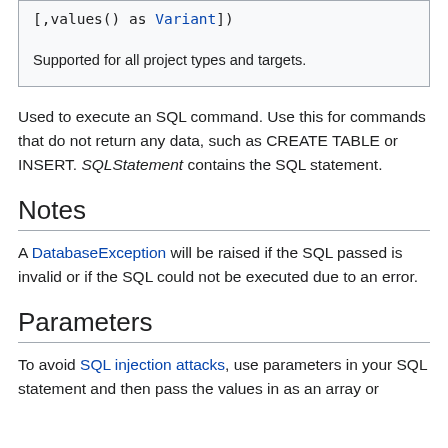[,values() as Variant])

Supported for all project types and targets.
Used to execute an SQL command. Use this for commands that do not return any data, such as CREATE TABLE or INSERT. SQLStatement contains the SQL statement.
Notes
A DatabaseException will be raised if the SQL passed is invalid or if the SQL could not be executed due to an error.
Parameters
To avoid SQL injection attacks, use parameters in your SQL statement and then pass the values in as an array or